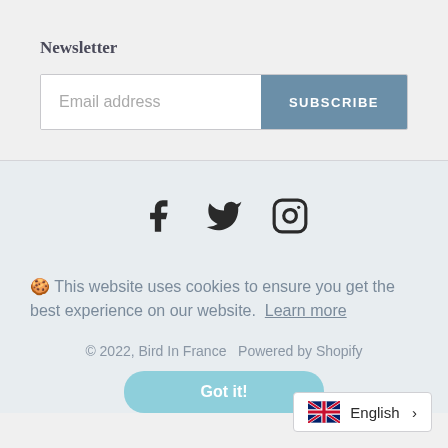Newsletter
[Figure (screenshot): Email address input field with SUBSCRIBE button]
[Figure (infographic): Social media icons: Facebook, Twitter, Instagram]
🍪 This website uses cookies to ensure you get the best experience on our website. Learn more
© 2022, Bird In France  Powered by Shopify
Got it!
English >